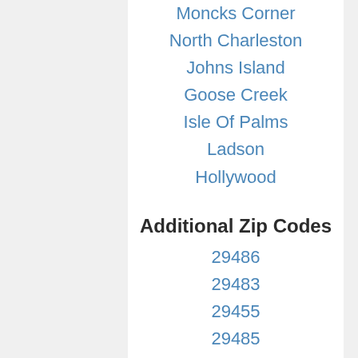Moncks Corner
North Charleston
Johns Island
Goose Creek
Isle Of Palms
Ladson
Hollywood
Additional Zip Codes
29486
29483
29455
29485
29466
29461
29445